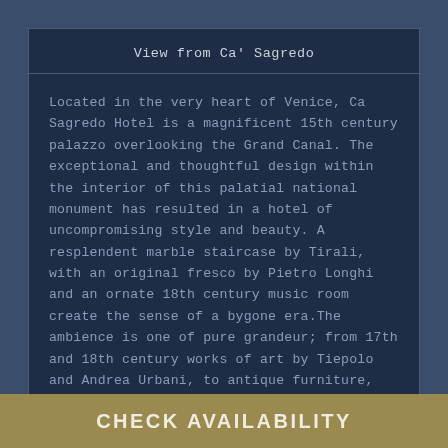View from Ca' Sagredo
Located in the very heart of Venice, Ca Sagredo Hotel is a magnificent 15th century palazzo overlooking the Grand Canal. The exceptional and thoughtful design within the interior of this palatial national monument has resulted in a hotel of uncompromising style and beauty. A resplendent marble staircase by Tirali, with an original fresco by Pietro Longhi and an ornate 18th century music room create the sense of a bygone era.The ambience is one of pure grandeur; from 17th and 18th century works of art by Tiepolo and Andrea Urbani, to antique furniture, crystal chandeliers and ornate furnishings throughout. Each of the hotels spacious rooms and suites is elegantly decorated, with most offering...
Ideal for...
Romantic Breaks
City Break
Great Location
CHECK AVAILABILITY